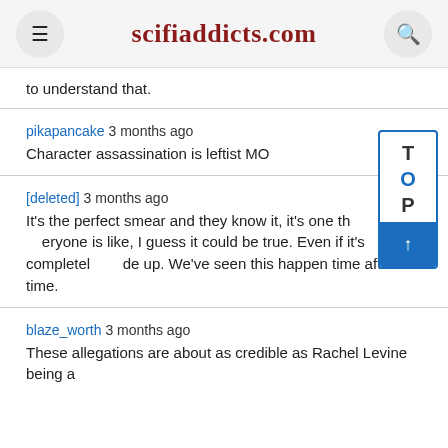scifiaddicts.com
to understand that.
pikapancake 3 months ago
Character assassination is leftist MO
[deleted] 3 months ago
It's the perfect smear and they know it, it's one th…eryone is like, I guess it could be true. Even if it's completel…de up. We've seen this happen time after time.
blaze_worth 3 months ago
These allegations are about as credible as Rachel Levine being a